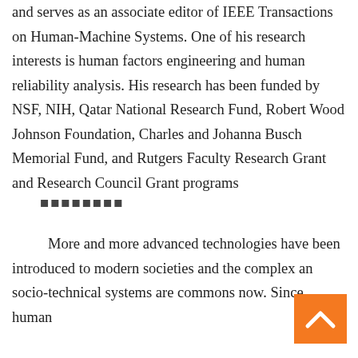and serves as an associate editor of IEEE Transactions on Human-Machine Systems. One of his research interests is human factors engineering and human reliability analysis. His research has been funded by NSF, NIH, Qatar National Research Fund, Robert Wood Johnson Foundation, Charles and Johanna Busch Memorial Fund, and Rutgers Faculty Research Grant and Research Council Grant programs
■■■■■■■■
More and more advanced technologies have been introduced to modern societies and the complex and socio-technical systems are commons now. Since human